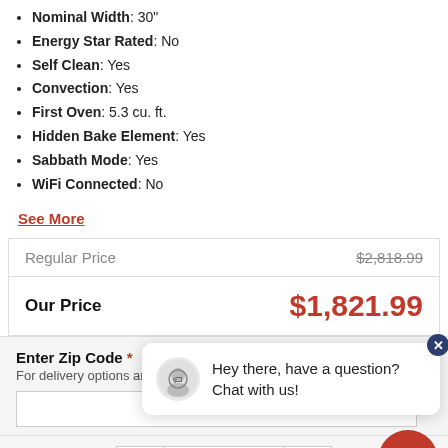Nominal Width: 30"
Energy Star Rated: No
Self Clean: Yes
Convection: Yes
First Oven: 5.3 cu. ft.
Hidden Bake Element: Yes
Sabbath Mode: Yes
WiFi Connected: No
See More
| Regular Price | $2,818.99 |
| Our Price | $1,821.99 |
Enter Zip Code * For delivery options and item availability
[Figure (screenshot): Chat popup overlay with avatar icon and text: Hey there, have a question? Chat with us!]